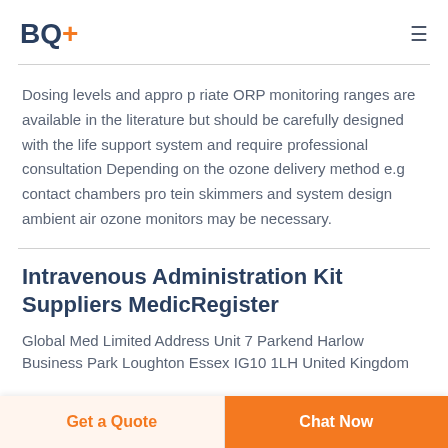BQ+
Dosing levels and appro p riate ORP monitoring ranges are available in the literature but should be carefully designed with the life support system and require professional consultation Depending on the ozone delivery method e.g contact chambers pro tein skimmers and system design ambient air ozone monitors may be necessary.
Intravenous Administration Kit Suppliers MedicRegister
Global Med Limited Address Unit 7 Parkend Harlow Business Park Loughton Essex IG10 1LH United Kingdom